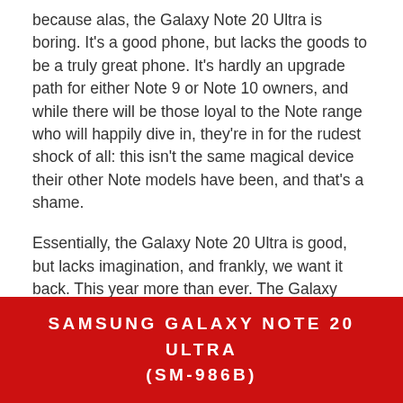because alas, the Galaxy Note 20 Ultra is boring. It's a good phone, but lacks the goods to be a truly great phone. It's hardly an upgrade path for either Note 9 or Note 10 owners, and while there will be those loyal to the Note range who will happily dive in, they're in for the rudest shock of all: this isn't the same magical device their other Note models have been, and that's a shame.
Essentially, the Galaxy Note 20 Ultra is good, but lacks imagination, and frankly, we want it back. This year more than ever. The Galaxy Note 20 Ultra is a good phone, but for the price, we want it to be better.
SAMSUNG GALAXY NOTE 20 ULTRA (SM-986B)